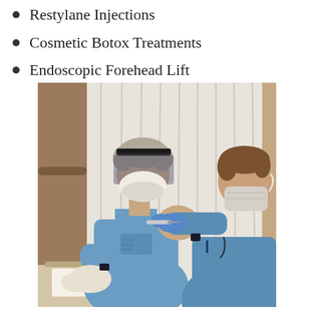Restylane Injections
Cosmetic Botox Treatments
Endoscopic Forehead Lift
[Figure (photo): A healthcare worker wearing a face shield and N95 mask in blue scrubs with 'Valley Health System' text sits while receiving a vaccination injection in their upper arm. A second healthcare worker in blue scrubs and mask administers the injection using gloved hands. The setting appears to be a medical office with a white folding screen in the background.]